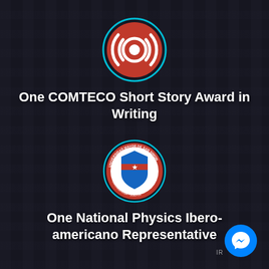[Figure (logo): COMTECO logo: red circular icon with concentric rings and broadcast/signal symbol, enclosed in a teal/cyan circular border]
One COMTECO Short Story Award in Writing
[Figure (logo): Universidad Mayor de San Simon (Cochabamba, Bolivia) logo: blue shield with white star/cross on red band, circular red border with text]
One National Physics Ibero-americano Representative
[Figure (logo): Facebook Messenger icon: blue circle with white lightning bolt/messenger logo]